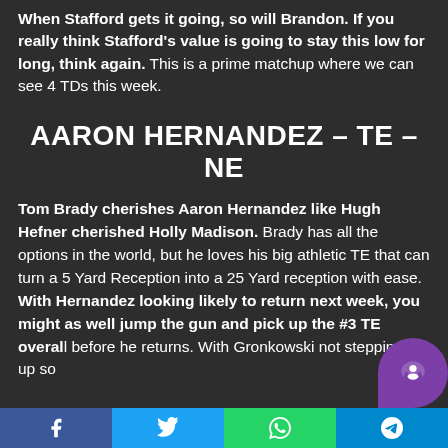When Stafford gets it going, so will Brandon. If you really think Stafford's value is going to stay this low for long, think again. This is a prime matchup where we can see 4 TDs this week.
AARON HERNANDEZ – TE – NE
Tom Brady cherishes Aaron Hernandez like Hugh Hefner cherished Holly Madison. Brady has all the options in the world, but he loves his big athletic TE that can turn a 5 Yard Reception into a 25 Yard reception with ease. With Hernandez looking likely to return next week, you might as well jump the gun and pick up the #3 TE overall before he returns. With Gronkowski not stepping it up so
Facebook | Twitter | WhatsApp | Telegram